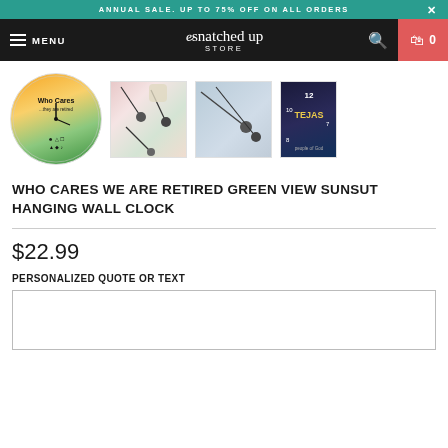ANNUAL SALE. UP TO 75% OFF ON ALL ORDERS
snatched up STORE — MENU
[Figure (screenshot): Product thumbnail images: circular wall clock with Who Cares we are retired design, two earbud/jewelry photos, and a book cover]
WHO CARES WE ARE RETIRED GREEN VIEW SUNSUT HANGING WALL CLOCK
$22.99
PERSONALIZED QUOTE OR TEXT